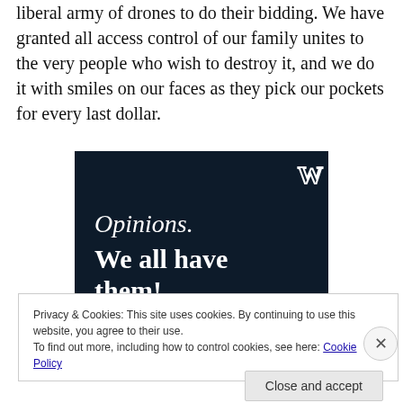liberal army of drones to do their bidding. We have granted all access control of our family unites to the very people who wish to destroy it, and we do it with smiles on our faces as they pick our pockets for every last dollar.
[Figure (illustration): Dark navy blue advertisement banner with WordPress logo in top-right corner. Text reads 'Opinions. We all have them!' in white serif/bold fonts. Pink button partially visible at bottom along with a white circular element.]
Privacy & Cookies: This site uses cookies. By continuing to use this website, you agree to their use.
To find out more, including how to control cookies, see here: Cookie Policy
Close and accept